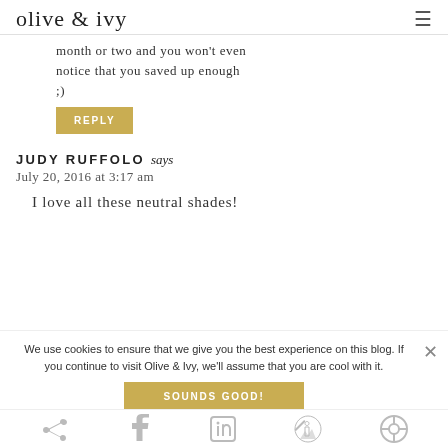olive & ivy
month or two and you won't even notice that you saved up enough ;)
REPLY
JUDY RUFFOLO says
July 20, 2016 at 3:17 am
I love all these neutral shades!
We use cookies to ensure that we give you the best experience on this blog. If you continue to visit Olive & Ivy, we'll assume that you are cool with it.
SOUNDS GOOD!